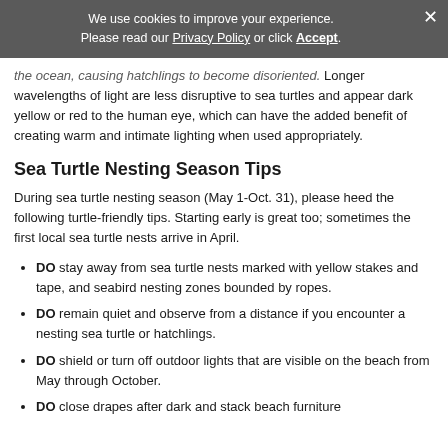We use cookies to improve your experience. Please read our Privacy Policy or click Accept.
the ocean, causing hatchlings to become disoriented. Longer wavelengths of light are less disruptive to sea turtles and appear dark yellow or red to the human eye, which can have the added benefit of creating warm and intimate lighting when used appropriately.
Sea Turtle Nesting Season Tips
During sea turtle nesting season (May 1-Oct. 31), please heed the following turtle-friendly tips. Starting early is great too; sometimes the first local sea turtle nests arrive in April.
DO stay away from sea turtle nests marked with yellow stakes and tape, and seabird nesting zones bounded by ropes.
DO remain quiet and observe from a distance if you encounter a nesting sea turtle or hatchlings.
DO shield or turn off outdoor lights that are visible on the beach from May through October.
DO close drapes after dark and stack beach furniture